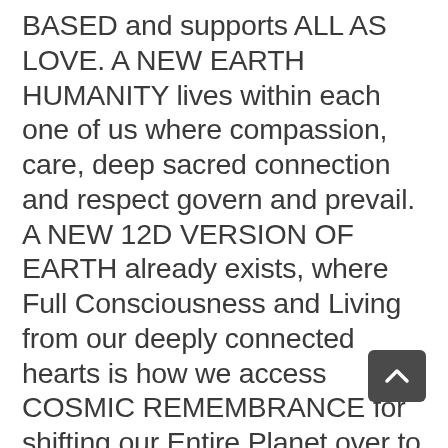BASED and supports ALL AS LOVE. A NEW EARTH HUMANITY lives within each one of us where compassion, care, deep sacred connection and respect govern and prevail. A NEW 12D VERSION OF EARTH already exists, where Full Consciousness and Living from our deeply connected hearts is how we access COSMIC REMEMBRANCE for shifting our Entire Planet over to a PEACEful and JOYful Society/Civilization of HUMANITARIANS all living/creating/working together FOR the BENEFIT of ALL…..